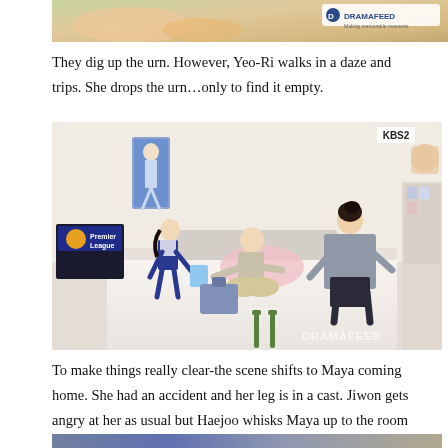[Figure (photo): Partial top image showing hands/objects with DRAMAFEED watermark logo in upper right corner]
They dig up the urn. However, Yeo-Ri walks in a daze and trips. She drops the urn…only to find it empty.
[Figure (photo): Korean drama scene showing three people on a bed in a child's room: a girl in school uniform on the left handing something to a boy sitting cross-legged in the center, and a woman in gray on the right. Room has Premier League poster on wall and KBS2 logo in upper right. DRAMAFEED watermark at bottom right.]
To make things really clear-the scene shifts to Maya coming home. She had an accident and her leg is in a cast. Jiwon gets angry at her as usual but Haejoo whisks Maya up to the room so that Maya can pull out all of her gifts including an angel doll for Yeo-Ri! Is Maya actually Bom?!
[Figure (photo): Partial bottom strip of another scene image]